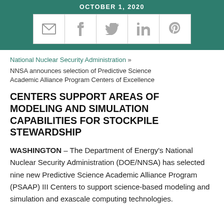OCTOBER 1, 2020
[Figure (infographic): Social sharing icons: email, Facebook, Twitter, LinkedIn, Pinterest in a white bar on teal background]
National Nuclear Security Administration »
NNSA announces selection of Predictive Science Academic Alliance Program Centers of Excellence
CENTERS SUPPORT AREAS OF MODELING AND SIMULATION CAPABILITIES FOR STOCKPILE STEWARDSHIP
WASHINGTON – The Department of Energy's National Nuclear Security Administration (DOE/NNSA) has selected nine new Predictive Science Academic Alliance Program (PSAAP) III Centers to support science-based modeling and simulation and exascale computing technologies.